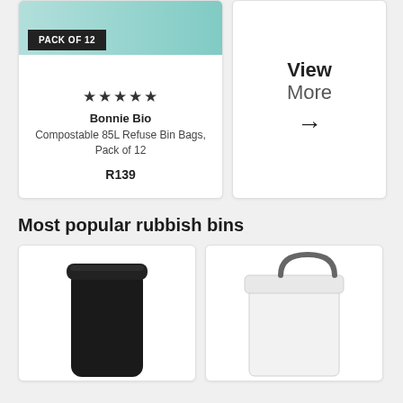[Figure (photo): Product card showing Bonnie Bio Compostable 85L Refuse Bin Bags, Pack of 12 with teal product image, pack of 12 badge, 5 star rating, product name and price R139]
PACK OF 12
★★★★★
Bonnie Bio
Compostable 85L Refuse Bin Bags, Pack of 12
R139
[Figure (other): View More card with arrow]
View More →
Most popular rubbish bins
[Figure (photo): Black square trash bin with lid]
[Figure (photo): White rectangular bin with handle]